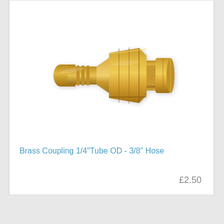[Figure (photo): Brass coupling fitting with 1/4" tube OD on one end and 3/8" hose barb on the other end, shown on white background]
Brass Coupling 1/4"Tube OD - 3/8" Hose
£2.50